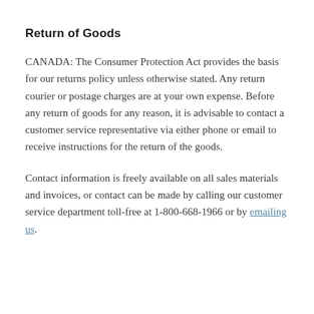Return of Goods
CANADA: The Consumer Protection Act provides the basis for our returns policy unless otherwise stated. Any return courier or postage charges are at your own expense. Before any return of goods for any reason, it is advisable to contact a customer service representative via either phone or email to receive instructions for the return of the goods.
Contact information is freely available on all sales materials and invoices, or contact can be made by calling our customer service department toll-free at 1-800-668-1966 or by emailing us.